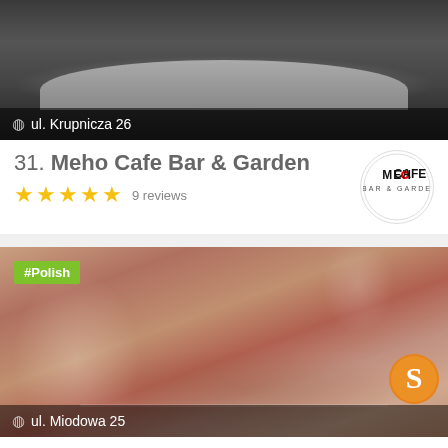[Figure (photo): Interior photo of Meho Cafe Bar showing a modern bar counter in dark tones]
ul. Krupnicza 26
31. Meho Cafe Bar & Garden
★★★★★ 9 reviews
[Figure (logo): Meho Cafe Bar & Garden circular logo]
[Figure (photo): Interior photo of a Polish restaurant with brick walls, decorated dining table with red flowers and white candelabras]
#Polish
ul. Miodowa 25
32. Sąsiedzi Restaurant
[Figure (logo): Sąsiedzi Restaurant logo — orange letter S]